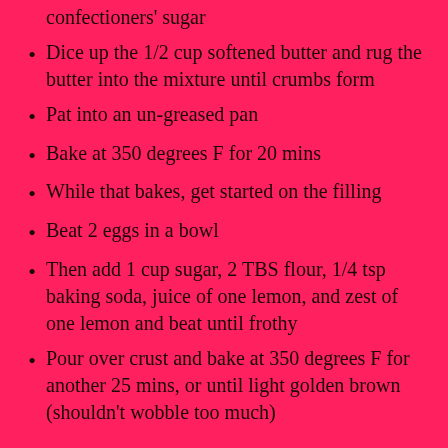confectioners' sugar
Dice up the 1/2 cup softened butter and rug the butter into the mixture until crumbs form
Pat into an un-greased pan
Bake at 350 degrees F for 20 mins
While that bakes, get started on the filling
Beat 2 eggs in a bowl
Then add 1 cup sugar, 2 TBS flour, 1/4 tsp baking soda, juice of one lemon, and zest of one lemon and beat until frothy
Pour over crust and bake at 350 degrees F for another 25 mins, or until light golden brown (shouldn't wobble too much)